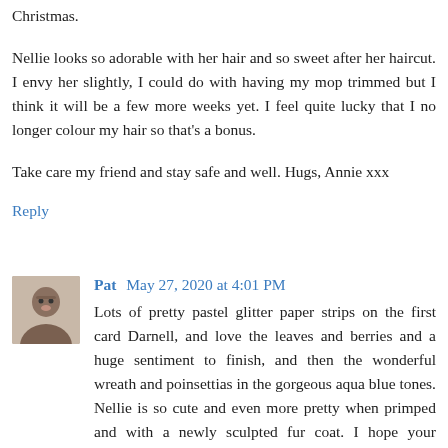Christmas.
Nellie looks so adorable with her hair and so sweet after her haircut. I envy her slightly, I could do with having my mop trimmed but I think it will be a few more weeks yet. I feel quite lucky that I no longer colour my hair so that's a bonus.
Take care my friend and stay safe and well. Hugs, Annie xxx
Reply
Pat  May 27, 2020 at 4:01 PM
Lots of pretty pastel glitter paper strips on the first card Darnell, and love the leaves and berries and a huge sentiment to finish, and then the wonderful wreath and poinsettias in the gorgeous aqua blue tones. Nellie is so cute and even more pretty when primped and with a newly sculpted fur coat. I hope your temperatures become more acceptable soon. We are warming up here but more like